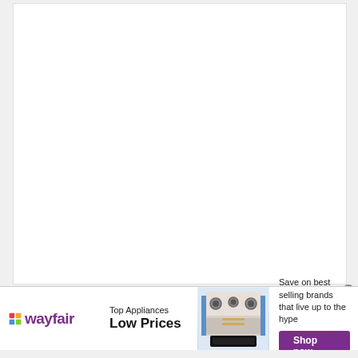[Figure (other): Large white rectangular panel on light gray background, mostly blank/empty content area]
[Figure (other): Wayfair advertisement banner. Contains Wayfair logo (colorful diamond + purple text), 'Top Appliances Low Prices' text, photo of a stove/range appliance, and 'Save on best selling brands that live up to the hype' with a purple 'Shop now' button.]